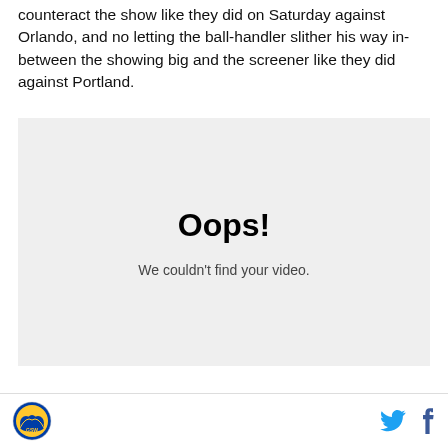counteract the show like they did on Saturday against Orlando, and no letting the ball-handler slither his way in-between the showing big and the screener like they did against Portland.
[Figure (screenshot): Video player placeholder showing 'Oops! We couldn't find your video.' on a light gray background]
...
Golden State Warriors logo | Twitter icon | Facebook icon